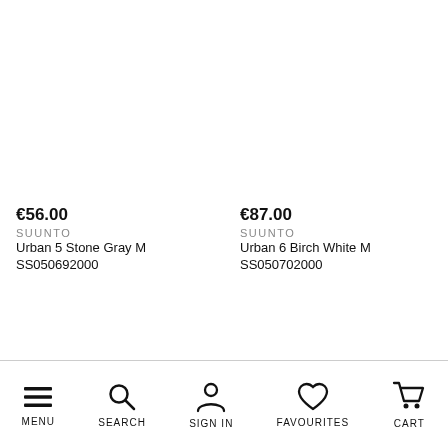€56.00
SUUNTO
Urban 5 Stone Gray M
SS050692000
€87.00
SUUNTO
Urban 6 Birch White M
SS050702000
MENU  SEARCH  SIGN IN  FAVOURITES  CART